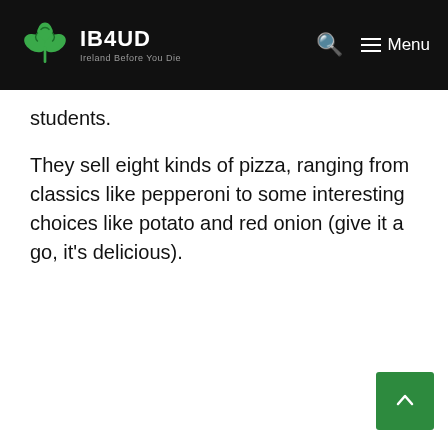IB4UD — Ireland Before You Die
students.
They sell eight kinds of pizza, ranging from classics like pepperoni to some interesting choices like potato and red onion (give it a go, it's delicious).